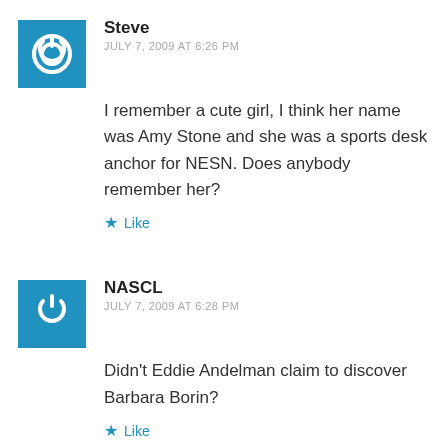Steve
JULY 7, 2009 AT 6:26 PM
I remember a cute girl, I think her name was Amy Stone and she was a sports desk anchor for NESN. Does anybody remember her?
Like
NASCL
JULY 7, 2009 AT 6:28 PM
Didn't Eddie Andelman claim to discover Barbara Borin?
Like